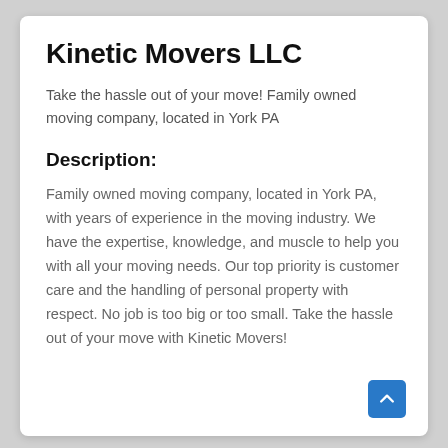Kinetic Movers LLC
Take the hassle out of your move! Family owned moving company, located in York PA
Description:
Family owned moving company, located in York PA, with years of experience in the moving industry. We have the expertise, knowledge, and muscle to help you with all your moving needs. Our top priority is customer care and the handling of personal property with respect. No job is too big or too small. Take the hassle out of your move with Kinetic Movers!